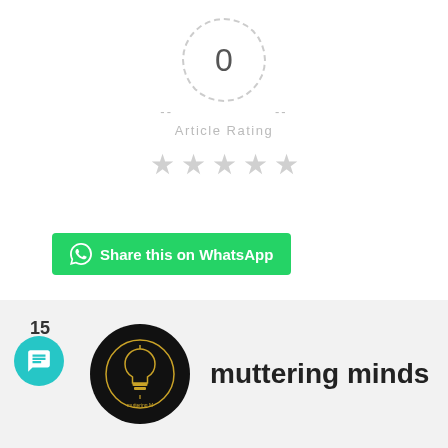[Figure (infographic): Article rating widget with dashed circle showing 0, dashes on sides, 'Article Rating' label, and 5 empty grey stars]
[Figure (infographic): Green WhatsApp share button with WhatsApp logo icon and text 'Share this on WhatsApp']
[Figure (infographic): Social sharing row with like button (heart icon, count 18), Facebook, Twitter, Pinterest, and email icons in circles]
[Figure (infographic): Author section with teal chat bubble icon, number 15, circular avatar with lightbulb logo, and author name 'muttering minds']
muttering minds